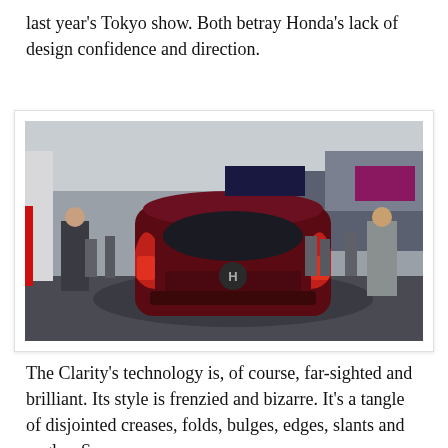last year's Tokyo show. Both betray Honda's lack of design confidence and direction.
[Figure (photo): Rear view of a dark red Honda Clarity on a display platform at an auto show, with attendees and exhibition stands visible in the background.]
The Clarity's technology is, of course, far-sighted and brilliant. Its style is frenzied and bizarre. It's a tangle of disjointed creases, folds, bulges, edges, slants and angles. Someone